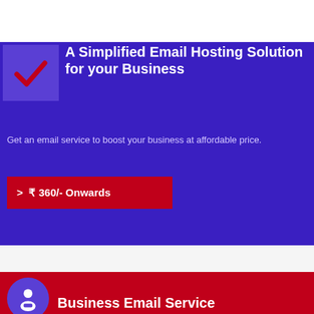[Figure (logo): Double Focus logo with circular multicolor border and text 'DOUBLE FOCUS' with tagline 'Hosting Webdesign Email Outsourcing']
A Simplified Email Hosting Solution for your Business
Get an email service to boost your business at affordable price.
> ₹ 360/- Onwards
Business Email Service